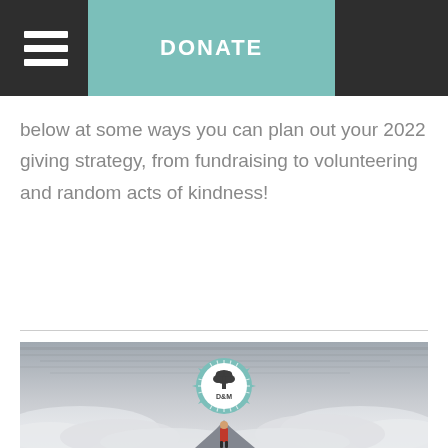DONATE
below at some ways you can plan out your 2022 giving strategy, from fundraising to volunteering and random acts of kindness!
[Figure (photo): Person standing on a mountain peak above clouds, with a D&M compass/tree logo overlaid in the center of the image]